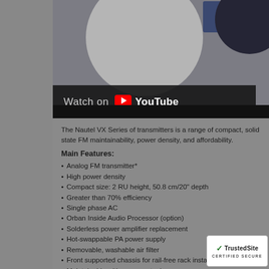[Figure (screenshot): YouTube video thumbnail showing a Nautel VX Series transmitter, with a 'Watch on YouTube' overlay bar at the bottom left of the video frame.]
The Nautel VX Series of transmitters is a range of compact, solid state FM maintainability, power density, and affordability.
Main Features:
Analog FM transmitter*
High power density
Compact size: 2 RU height, 50.8 cm/20" depth
Greater than 70% efficiency
Single phase AC
Orban Inside Audio Processor (option)
Solderless power amplifier replacement
Hot-swappable PA power supply
Removable, washable air filter
Front supported chassis for rail-free rack installation
Maintainable with common tools
[Figure (logo): TrustedSite CERTIFIED SECURE badge]